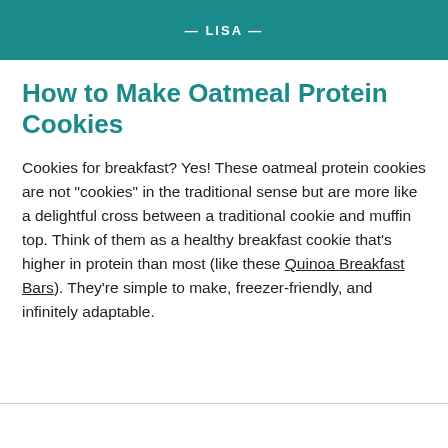— LISA —
How to Make Oatmeal Protein Cookies
Cookies for breakfast? Yes! These oatmeal protein cookies are not “cookies” in the traditional sense but are more like a delightful cross between a traditional cookie and muffin top. Think of them as a healthy breakfast cookie that’s higher in protein than most (like these Quinoa Breakfast Bars). They’re simple to make, freezer-friendly, and infinitely adaptable.